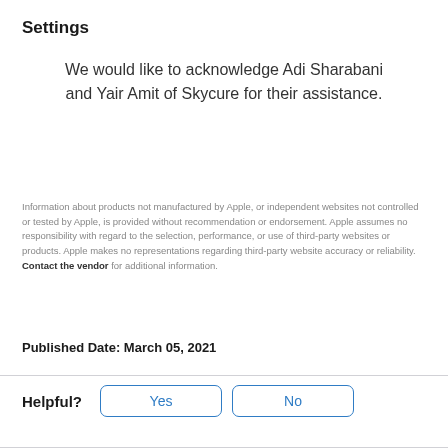Settings
We would like to acknowledge Adi Sharabani and Yair Amit of Skycure for their assistance.
Information about products not manufactured by Apple, or independent websites not controlled or tested by Apple, is provided without recommendation or endorsement. Apple assumes no responsibility with regard to the selection, performance, or use of third-party websites or products. Apple makes no representations regarding third-party website accuracy or reliability. Contact the vendor for additional information.
Published Date: March 05, 2021
Helpful?  Yes  No